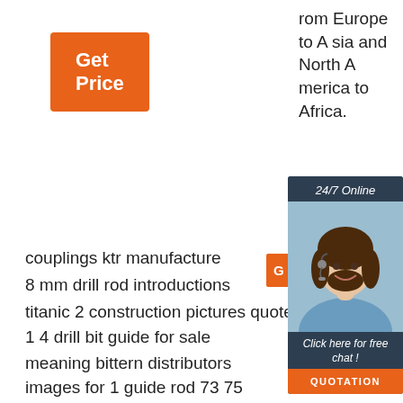[Figure (other): Orange 'Get Price' button]
rom Europe to Asia and North America to Africa.
[Figure (other): 24/7 Online chat widget with photo of woman with headset, 'Click here for free chat!' text, and orange QUOTATION button]
couplings ktr manufacture
8 mm drill rod introductions
titanic 2 construction pictures quote
1 4 drill bit guide for sale
meaning bittern distributors
images for 1 guide rod 73 75
crystal mining tools cheap
low price 3d bitmap image
large tapered wood drill bits sale price
[Figure (logo): TOP logo with orange dots arranged in triangle above bold orange TOP text]